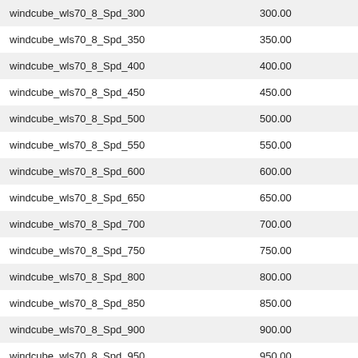| windcube_wls70_8_Spd_300 | 300.00 |
| windcube_wls70_8_Spd_350 | 350.00 |
| windcube_wls70_8_Spd_400 | 400.00 |
| windcube_wls70_8_Spd_450 | 450.00 |
| windcube_wls70_8_Spd_500 | 500.00 |
| windcube_wls70_8_Spd_550 | 550.00 |
| windcube_wls70_8_Spd_600 | 600.00 |
| windcube_wls70_8_Spd_650 | 650.00 |
| windcube_wls70_8_Spd_700 | 700.00 |
| windcube_wls70_8_Spd_750 | 750.00 |
| windcube_wls70_8_Spd_800 | 800.00 |
| windcube_wls70_8_Spd_850 | 850.00 |
| windcube_wls70_8_Spd_900 | 900.00 |
| windcube_wls70_8_Spd_950 | 950.00 |
| windcube_wls70_8_Spd_1000 | 1000.00 |
| windcube_wls70_8_Spd_1050 | 1050.00 |
| windcube_wls70_8_Spd_1100 | 1100.00 |
| windcube_wls70_8_Spd_1150 | 1150.00 |
| windcube_wls70_8_Spd_1200 | 1200.00 |
| windcube_wls70_8_Spd_1250 | 1250.00 |